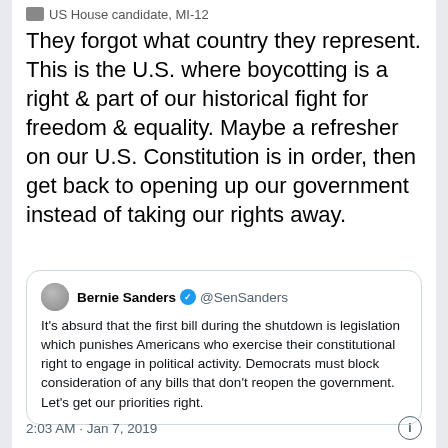US House candidate, MI-12
They forgot what country they represent. This is the U.S. where boycotting is a right & part of our historical fight for freedom & equality. Maybe a refresher on our U.S. Constitution is in order, then get back to opening up our government instead of taking our rights away.
Bernie Sanders @SenSanders — It's absurd that the first bill during the shutdown is legislation which punishes Americans who exercise their constitutional right to engage in political activity. Democrats must block consideration of any bills that don't reopen the government. Let's get our priorities right.
2:03 AM · Jan 7, 2019